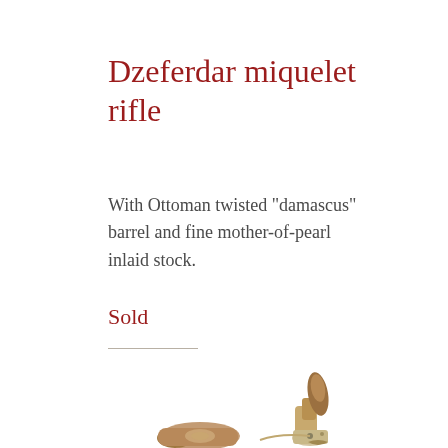Dzeferdar miquelet rifle
With Ottoman twisted "damascus" barrel and fine mother-of-pearl inlaid stock.
Sold
[Figure (photo): Photograph of a Dzeferdar miquelet rifle showing the stock with mother-of-pearl inlay and the lock mechanism, partially visible at bottom of page.]